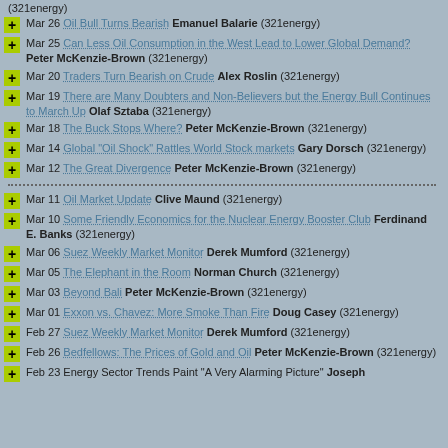(321energy)
Mar 26 Oil Bull Turns Bearish Emanuel Balarie (321energy)
Mar 25 Can Less Oil Consumption in the West Lead to Lower Global Demand? Peter McKenzie-Brown (321energy)
Mar 20 Traders Turn Bearish on Crude Alex Roslin (321energy)
Mar 19 There are Many Doubters and Non-Believers but the Energy Bull Continues to March Up Olaf Sztaba (321energy)
Mar 18 The Buck Stops Where? Peter McKenzie-Brown (321energy)
Mar 14 Global "Oil Shock" Rattles World Stock markets Gary Dorsch (321energy)
Mar 12 The Great Divergence Peter McKenzie-Brown (321energy)
Mar 11 Oil Market Update Clive Maund (321energy)
Mar 10 Some Friendly Economics for the Nuclear Energy Booster Club Ferdinand E. Banks (321energy)
Mar 06 Suez Weekly Market Monitor Derek Mumford (321energy)
Mar 05 The Elephant in the Room Norman Church (321energy)
Mar 03 Beyond Bali Peter McKenzie-Brown (321energy)
Mar 01 Exxon vs. Chavez: More Smoke Than Fire Doug Casey (321energy)
Feb 27 Suez Weekly Market Monitor Derek Mumford (321energy)
Feb 26 Bedfellows: The Prices of Gold and Oil Peter McKenzie-Brown (321energy)
Feb 23 Energy Sector Trends Paint "A Very Alarming Picture" Joseph